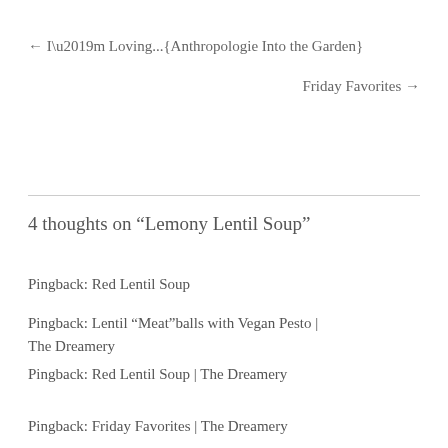← I'm Loving...{Anthropologie Into the Garden}
Friday Favorites →
4 thoughts on “Lemony Lentil Soup”
Pingback: Red Lentil Soup
Pingback: Lentil “Meat”balls with Vegan Pesto | The Dreamery
Pingback: Red Lentil Soup | The Dreamery
Pingback: Friday Favorites | The Dreamery